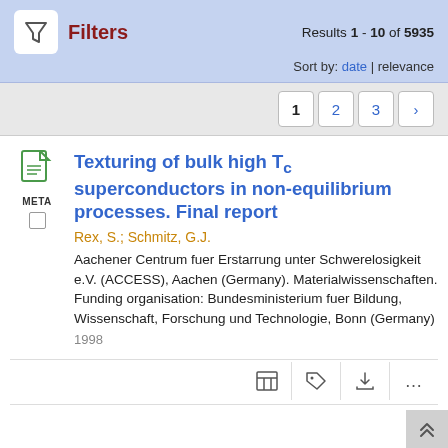Results 1 - 10 of 5935
Filters
Sort by: date | relevance
1  2  3  >
Texturing of bulk high Tc superconductors in non-equilibrium processes. Final report
Rex, S.; Schmitz, G.J.
Aachener Centrum fuer Erstarrung unter Schwerelosigkeit e.V. (ACCESS), Aachen (Germany). Materialwissenschaften. Funding organisation: Bundesministerium fuer Bildung, Wissenschaft, Forschung und Technologie, Bonn (Germany)
1998